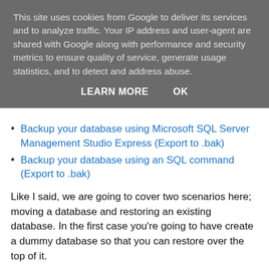This site uses cookies from Google to deliver its services and to analyze traffic. Your IP address and user-agent are shared with Google along with performance and security metrics to ensure quality of service, generate usage statistics, and to detect and address abuse.
LEARN MORE   OK
Backup your database using Microsoft SQL Server Management Studio Express (Export to .bak)
Backup your database using an SQL command (Export to .bak)
Like I said, we are going to cover two scenarios here; moving a database and restoring an existing database. In the first case you're going to have create a dummy database so that you can restore over the top of it.